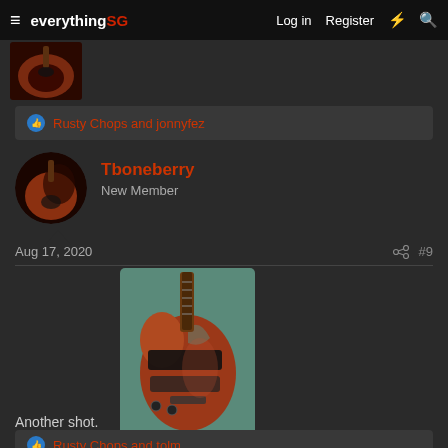everythingSG — Log in  Register
[Figure (photo): Thumbnail of a red SG-style guitar body interior/case, partially visible at top of page]
👍 Rusty Chops and jonnyfez
Tboneberry
New Member
Aug 17, 2020  #9
[Figure (photo): Red SG-style electric guitar on a blue/green background]
Another shot.
👍 Rusty Chops and tolm